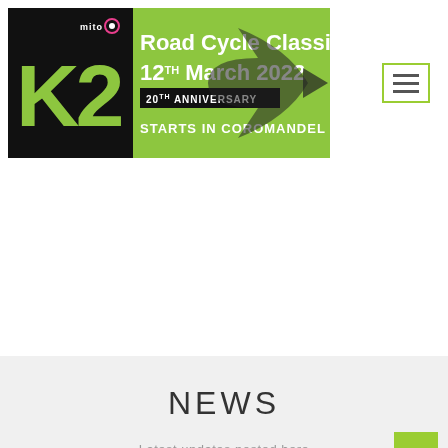[Figure (illustration): K2 Mito Road Cycle Classic banner: black left panel with green K2 logo and mito logo, green right panel with white bold text 'Road Cycle Classic', '12TH March 2022', '20TH ANNIVERSARY', 'STARTS IN COROMANDEL', and a large black arrow/cycle graphic]
[Figure (other): Hamburger menu icon — three horizontal lines inside a green-bordered square button]
NEWS
Latest updates posted here